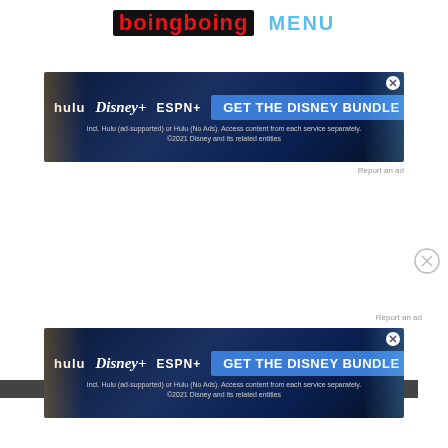boingboing MENU
[Figure (screenshot): Disney Bundle advertisement banner: hulu, Disney+, ESPN+ logos with 'GET THE DISNEY BUNDLE' CTA button on dark blue background. Fine print: Incl. Hulu (ad-supported) or Hulu (No Ads). Access content from each service separately. ©2021 Disney and its related entities.]
Report an ad
[Figure (screenshot): Close/dismiss button circle with X]
Report an ad
[Figure (screenshot): Disney Bundle advertisement banner (second instance): hulu, Disney+, ESPN+ logos with 'GET THE DISNEY BUNDLE' CTA button on dark blue background. Fine print: Incl. Hulu (ad-supported) or Hulu (No Ads). Access content from each service separately. ©2021 Disney and its related entities.]